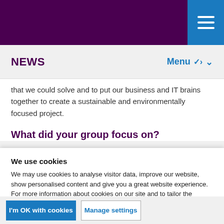NEWS   Menu
that we could solve and to put our business and IT brains together to create a sustainable and environmentally focused project.
What did your group focus on?
We use cookies
We may use cookies to analyse visitor data, improve our website, show personalised content and give you a great website experience. For more information about cookies on our site and to tailor the cookies we collect, select ‘Manage settings’.
I'm OK with cookies
Manage settings